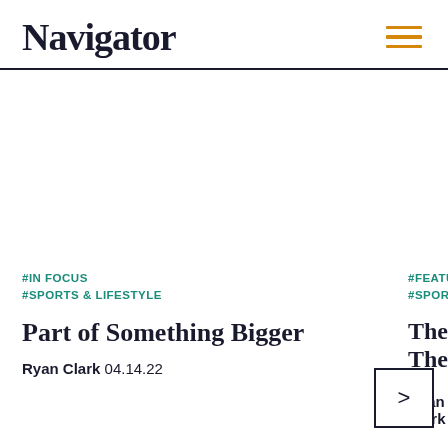Navigator
#IN FOCUS
#SPORTS & LIFESTYLE
Part of Something Bigger
Ryan Clark 04.14.22
#FEATURES
#SPORTS & L...
The Marin...
The Greate...
Ryan Clark